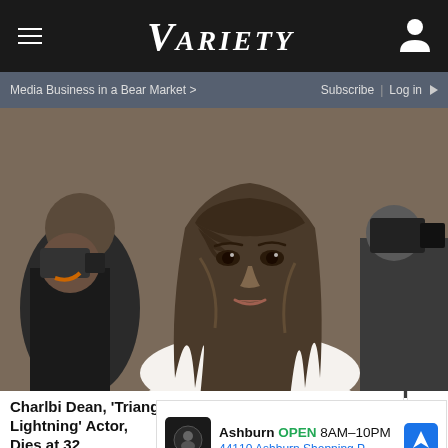VARIETY
Media Business in a Bear Market > Subscribe | Log in
[Figure (photo): Woman with long wavy brunette hair and bangs wearing a diamond necklace, smiling at what appears to be a red carpet event. Photographers visible in background.]
Charlbi Dean, 'Triangle of Sadness' and 'Black Lightning' Actor, Dies at 32
[Figure (infographic): Google Maps advertisement showing: Ashburn OPEN 8AM-10PM, 44110 Ashburn Shopping P... with store logo, navigation arrow icon, play button and close X button]